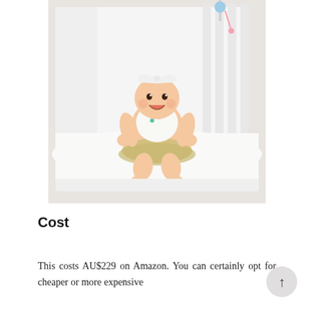[Figure (photo): A smiling baby girl wearing a white headband bow and a tutu dress sitting upright in a white baby crib. A mobile hangs above the crib. The crib mattress is white.]
Cost
This costs AU$229 on Amazon. You can certainly opt for cheaper or more expensive